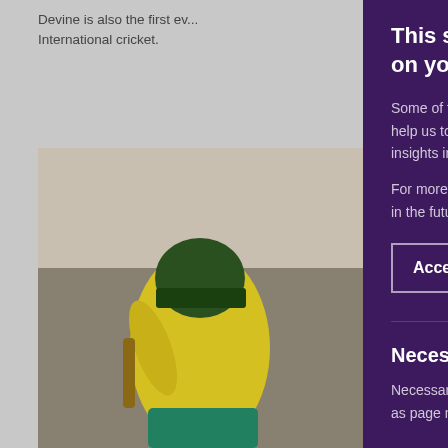Devine is also the first ev... International cricket.
[Figure (photo): Cricket player wearing yellow jersey and green helmet, running/batting]
This site uses cookies to store info on your computer.
Some of these cookies are essential, help us to improve your experience b insights into how the site is being use
For more information and to change y in the future, visit our privacy stateme
Accept all cookies
Reject all
Necessary Cookies
Necessary cookies enable core funct as page navigation and access to se